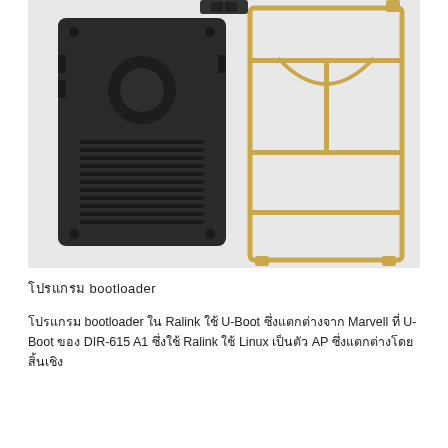[Figure (photo): Disassembled router components showing a black plastic back cover/heatsink with fins and circular mount, alongside a gold-colored metallic RF shielding frame/cage, with a small black connector piece at the top center.]
โปรแกรม bootloader
โปรแกรม bootloader ใน Ralink ใช้ U-Boot ซึ่งแตกต่างจาก Marvell ที่ U-Boot ของ DIR-615 A1 ซึ่งใช้ Ralink ใช้ Linux เป็นตัว AP ซึ่งแตกต่างโดยสิ้นเชิง